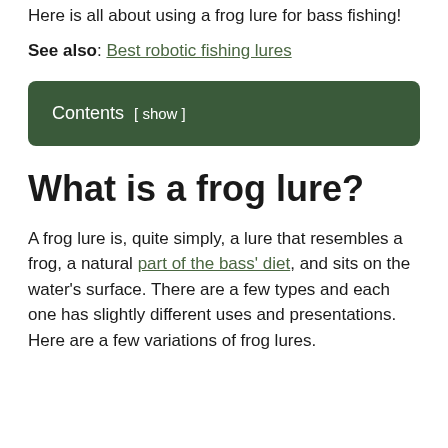Here is all about using a frog lure for bass fishing!
See also: Best robotic fishing lures
Contents [ show ]
What is a frog lure?
A frog lure is, quite simply, a lure that resembles a frog, a natural part of the bass' diet, and sits on the water's surface. There are a few types and each one has slightly different uses and presentations. Here are a few variations of frog lures.